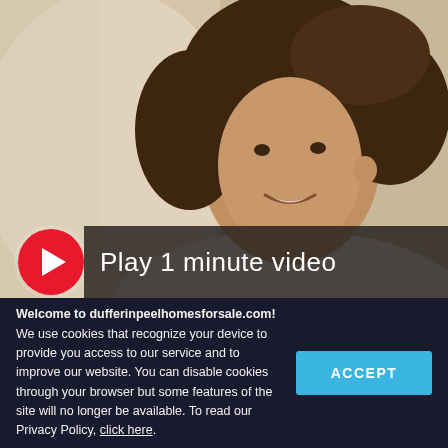[Figure (screenshot): Video thumbnail showing a smiling woman with curly brown hair. A red circular play button is shown at bottom left, and a dark banner reads 'Play 1 minute video'.]
Welcome to dufferinpeelhomesforsale.com! We use cookies that recognize your device to provide you access to our service and to improve our website. You can disable cookies through your browser but some features of the site will no longer be available. To read our Privacy Policy, click here.